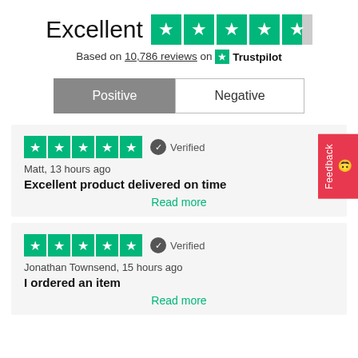Excellent
Based on 10,786 reviews on Trustpilot
Positive | Negative
Matt, 13 hours ago
Excellent product delivered on time
Read more
Jonathan Townsend, 15 hours ago
I ordered an item
Read more